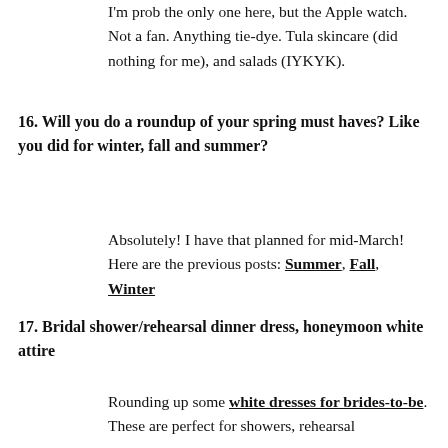I'm prob the only one here, but the Apple watch. Not a fan. Anything tie-dye. Tula skincare (did nothing for me), and salads (IYKYK).
16. Will you do a roundup of your spring must haves? Like you did for winter, fall and summer?
Absolutely! I have that planned for mid-March! Here are the previous posts: Summer, Fall, Winter
17. Bridal shower/rehearsal dinner dress, honeymoon white attire
Rounding up some white dresses for brides-to-be. These are perfect for showers, rehearsal